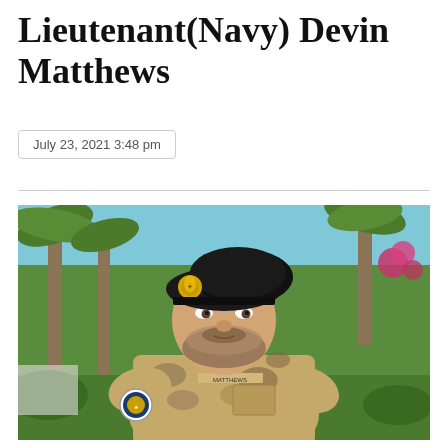Lieutenant(Navy) Devin Matthews
July 23, 2021 3:48 pm
[Figure (photo): Portrait photograph of Lieutenant(Navy) Devin Matthews in Canadian Armed Forces desert camouflage uniform with black beret bearing a military badge. He has a beard and is standing outdoors with palm trees and pink flowers in the background.]